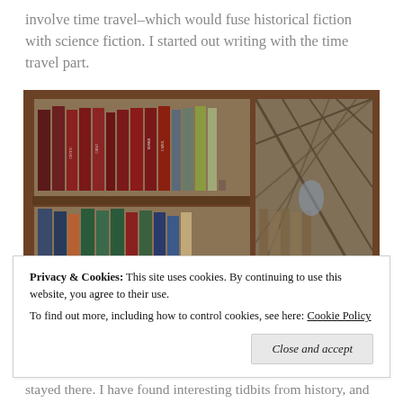involve time travel–which would fuse historical fiction with science fiction. I started out writing with the time travel part.
[Figure (photo): A wooden bookcase with glass doors, showing two shelves filled with old hardcover books in various colors including red, green, blue, and yellow spines.]
Privacy & Cookies: This site uses cookies. By continuing to use this website, you agree to their use. To find out more, including how to control cookies, see here: Cookie Policy
stayed there. I have found interesting tidbits from history, and